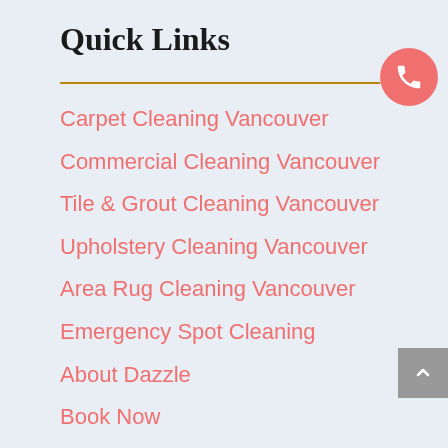Quick Links
Carpet Cleaning Vancouver
Commercial Cleaning Vancouver
Tile & Grout Cleaning Vancouver
Upholstery Cleaning Vancouver
Area Rug Cleaning Vancouver
Emergency Spot Cleaning
About Dazzle
Book Now
Contact